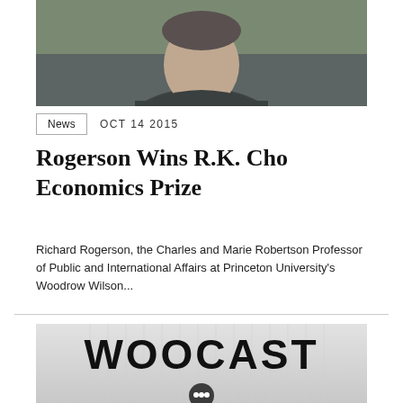[Figure (photo): Portrait photo of a man in a dark polo shirt, photographed outdoors with blurred greenery in background]
News   OCT 14 2015
Rogerson Wins R.K. Cho Economics Prize
Richard Rogerson, the Charles and Marie Robertson Professor of Public and International Affairs at Princeton University's Woodrow Wilson...
[Figure (photo): WOOCAST logo/banner image — large bold text reading WOOCAST with a circular icon below on a light gray background]